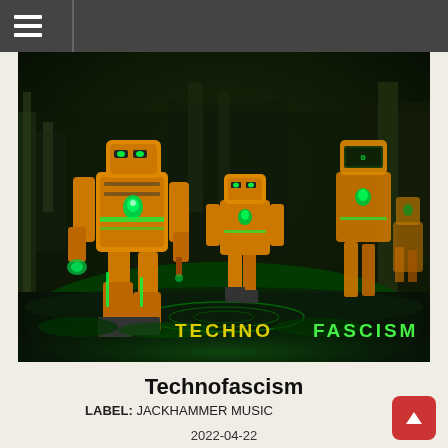≡ (hamburger menu icon)
[Figure (illustration): Cyberpunk sci-fi album art showing large mechanical robots/mecha suits in orange/yellow and green color scheme standing in a dark industrial wasteland with green glowing accents. Text 'TECHNOFASCISM' in yellow-green lettering at the bottom of the image.]
Technofascism
LABEL: JACKHAMMER MUSIC
2022-04-22